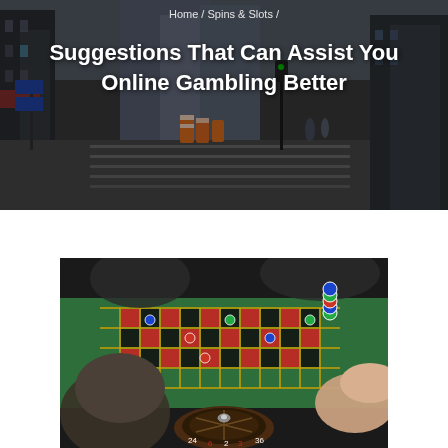Home / Spins & Slots /
Suggestions That Can Assist You Online Gambling Better
[Figure (photo): Street-level view of an urban city street with tall buildings, construction barrels, and a pedestrian crosswalk in the distance. Dark atmospheric photo.]
[Figure (photo): Close-up of a roulette table with green felt, players' hands placing chips, and the roulette wheel visible in the foreground.]